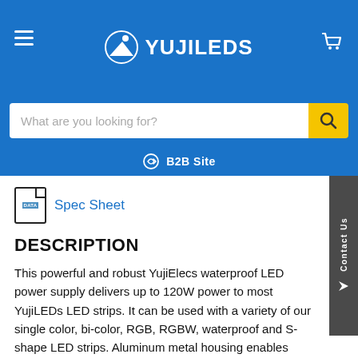YUJILEDS
Spec Sheet
DESCRIPTION
This powerful and robust YujiElecs waterproof LED power supply delivers up to 120W power to most YujiLEDs LED strips. It can be used with a variety of our single color, bi-color, RGB, RGBW, waterproof and S-shape LED strips. Aluminum metal housing enables excellent heat dissipation and IP67 waterproof protection. Working with YujiElecs Wireless [Earn Rewards] r Kit for Single Color/Bi-color LED strips...